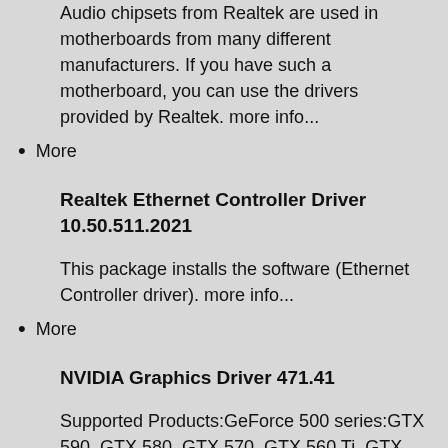Audio chipsets from Realtek are used in motherboards from many different manufacturers. If you have such a motherboard, you can use the drivers provided by Realtek. more info...
More
Realtek Ethernet Controller Driver 10.50.511.2021
This package installs the software (Ethernet Controller driver). more info...
More
NVIDIA Graphics Driver 471.41
Supported Products:GeForce 500 series:GTX 590, GTX 580, GTX 570, GTX 560 Ti, GTX 560, GTX 550 Ti, GT 545, GT 530, GT 520, 510GeForce 400 series:GTX 480, GTX 470, GTX 465, GTX 460 v2, GTX 460 SE v2, GTX 460 SE, GTX 460, GTS 450, GT 440, GT … more info...
More